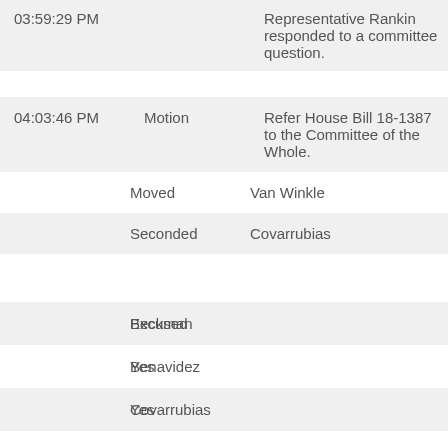| Time | Type | Description |
| --- | --- | --- |
| 03:59:29 PM |  | Representative Rankin responded to a committee question. |
| 04:03:46 PM | Motion | Refer House Bill 18-1387 to the Committee of the Whole. |
|  | Moved | Van Winkle |
|  | Seconded | Covarrubias |
|  | Beckman | Excused |
|  | Benavidez | Yes |
|  | Covarrubias | Yes |
|  | Gray | Yes |